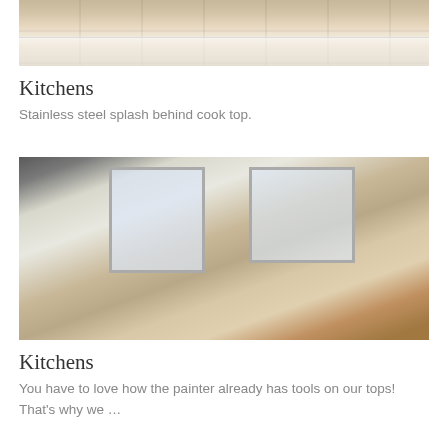[Figure (photo): Top-cropped photo of a kitchen counter with granite countertop, white cabinets with drawer handles, and a gas cooktop visible at the top with items on the counter.]
Kitchens
Stainless steel splash behind cook top.
[Figure (photo): Kitchen under renovation/construction showing stainless steel refrigerator on left, white marble backsplash, gas range/oven, light wood countertop with sink, open shelving on the right, and two windows letting in natural light.]
Kitchens
You have to love how the painter already has tools on our tops! That's why we …
[Figure (photo): Partial bottom view of another kitchen showing white cabinets, windows, and what appears to be a range hood.]